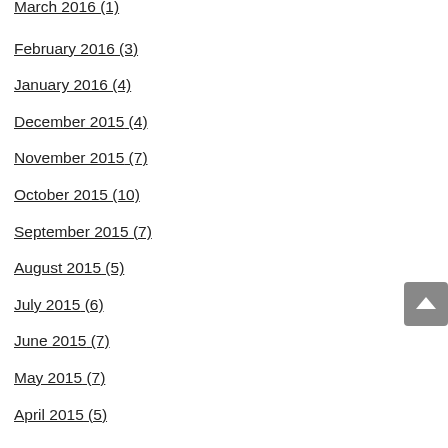March 2016 (1)
February 2016 (3)
January 2016 (4)
December 2015 (4)
November 2015 (7)
October 2015 (10)
September 2015 (7)
August 2015 (5)
July 2015 (6)
June 2015 (7)
May 2015 (7)
April 2015 (5)